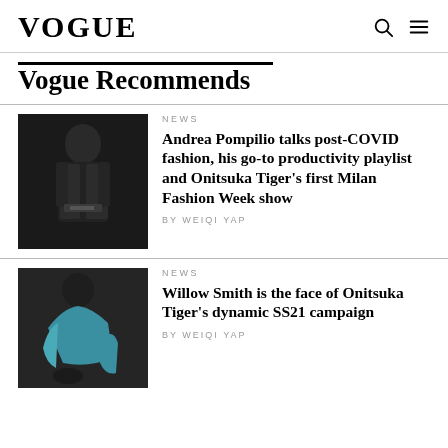VOGUE
Vogue Recommends
[Figure (photo): Person in dark outfit posing against dark background]
NEWS
Andrea Pompilio talks post-COVID fashion, his go-to productivity playlist and Onitsuka Tiger's first Milan Fashion Week show
BY WEIQI YAP
[Figure (photo): Person in teal/blue outfit against dark background]
NEWS
Willow Smith is the face of Onitsuka Tiger's dynamic SS21 campaign
BY WEIQI YAP